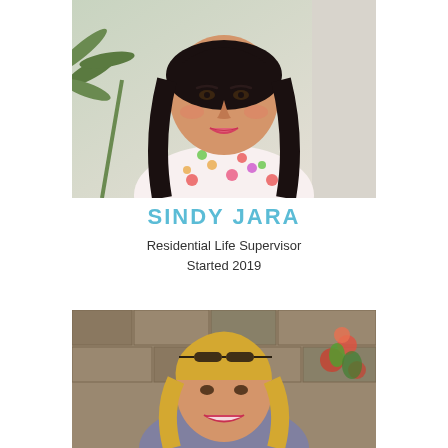[Figure (photo): Portrait photo of Sindy Jara, a woman with dark hair wearing a floral dress, smiling, with a plant in the background.]
SINDY JARA
Residential Life Supervisor
Started 2019
[Figure (photo): Portrait photo of a woman with blonde hair wearing sunglasses on her head, smiling, with a stone wall and flowering plants in the background.]